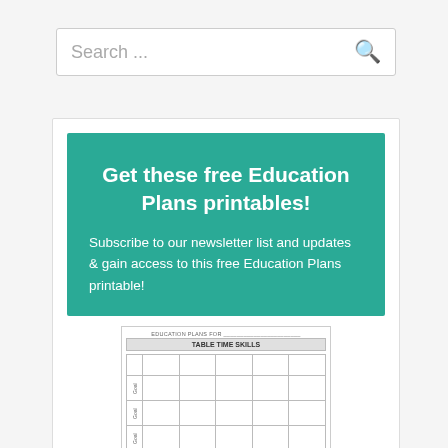Search ...
Get these free Education Plans printables!
Subscribe to our newsletter list and updates & gain access to this free Education Plans printable!
[Figure (table-as-image): Preview thumbnail of an Education Plans printable showing a table titled TABLE TIME SKILLS with rows and columns]